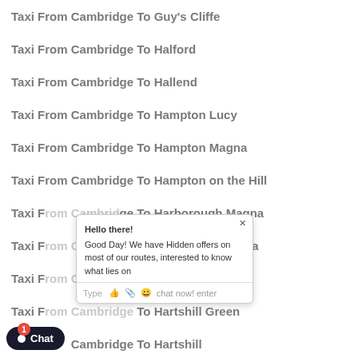Taxi From Cambridge To Guy's Cliffe
Taxi From Cambridge To Halford
Taxi From Cambridge To Hallend
Taxi From Cambridge To Hampton Lucy
Taxi From Cambridge To Hampton Magna
Taxi From Cambridge To Hampton on the Hill
Taxi From Cambridge To Harborough Magna
Taxi From Cambridge To Harborough Parva
Taxi From Cambridge To Harbury
Taxi From Cambridge To Hartshill Green
Taxi From Cambridge To Hartshill